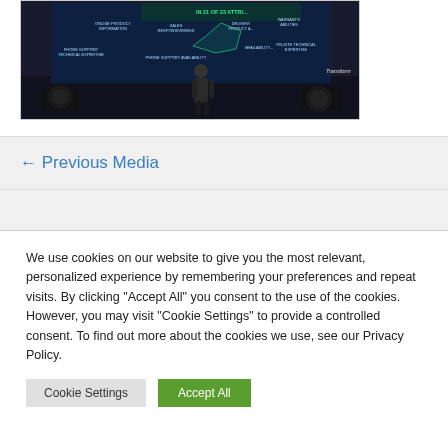[Figure (photo): A person standing on a dark stage in front of a large presentation screen displaying a radar/spider chart with various attributes like 'Online Product Information', 'Sales Responsiveness', 'Phone Support Technical Expertise', 'Phone Support Availability', 'Delivery Product', 'Warranty/Abilities', 'On-Site Technical Expertise', with text 'IN 21 OF 33 ATTRI...' visible and a 'Transform' logo in the lower right of the screen.]
← Previous Media
We use cookies on our website to give you the most relevant, personalized experience by remembering your preferences and repeat visits. By clicking "Accept All" you consent to the use of the cookies. However, you may visit "Cookie Settings" to provide a controlled consent. To find out more about the cookies we use, see our Privacy Policy.